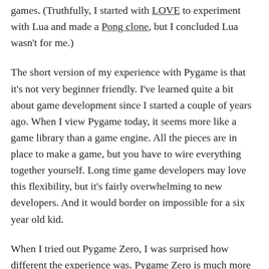games. (Truthfully, I started with LOVE to experiment with Lua and made a Pong clone, but I concluded Lua wasn't for me.)
The short version of my experience with Pygame is that it's not very beginner friendly. I've learned quite a bit about game development since I started a couple of years ago. When I view Pygame today, it seems more like a game library than a game engine. All the pieces are in place to make a game, but you have to wire everything together yourself. Long time game developers may love this flexibility, but it's fairly overwhelming to new developers. And it would border on impossible for a six year old kid.
When I tried out Pygame Zero, I was surprised how different the experience was. Pygame Zero is much more like a game engine. The common pieces that you must handle yourself in